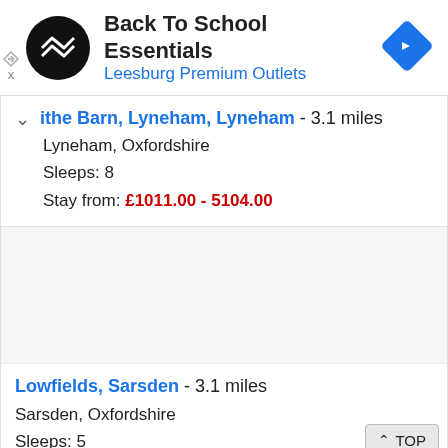[Figure (logo): Back To School Essentials ad banner with circular black logo with arrow icon and a blue diamond navigation icon]
ithe Barn, Lyneham, Lyneham - 3.1 miles
Lyneham, Oxfordshire
Sleeps: 8
Stay from: £1011.00 - 5104.00
Lowfields, Sarsden - 3.1 miles
Sarsden, Oxfordshire
Sleeps: 5
Stay from: £[...]